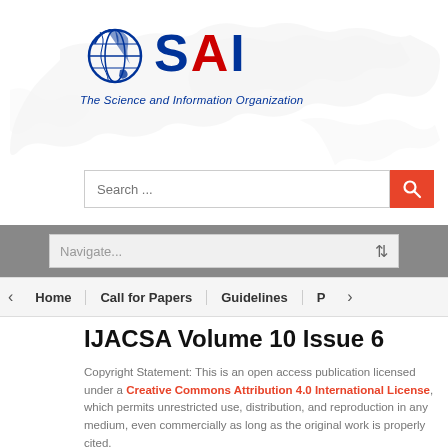[Figure (logo): SAI - The Science and Information Organization logo with globe icon and world map background]
[Figure (screenshot): Search bar with orange search button]
[Figure (screenshot): Navigate dropdown control on gray bar]
[Figure (screenshot): Navigation menu bar with Home, Call for Papers, Guidelines items]
IJACSA Volume 10 Issue 6
Copyright Statement: This is an open access publication licensed under a Creative Commons Attribution 4.0 International License, which permits unrestricted use, distribution, and reproduction in any medium, even commercially as long as the original work is properly cited.